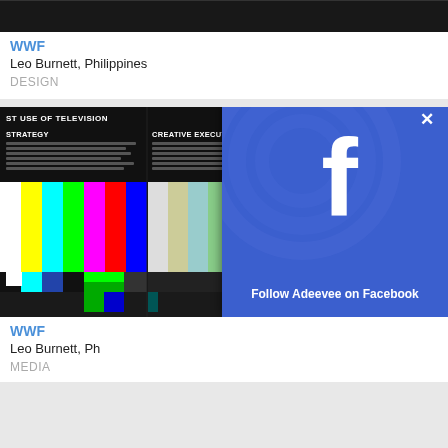[Figure (screenshot): Top card thumbnail image strip (dark background)]
WWF
Leo Burnett, Philippines
DESIGN
[Figure (screenshot): TV color bars test pattern with sections: STRATEGY, CREATIVE EXECUTION, RESULTS & EFFECTIVENESS on dark background]
WWF
Leo Burnett, Ph
MEDIA
[Figure (screenshot): Facebook follow popup overlay with blue background, Facebook 'f' logo, close X button, and text 'Follow Adeevee on Facebook']